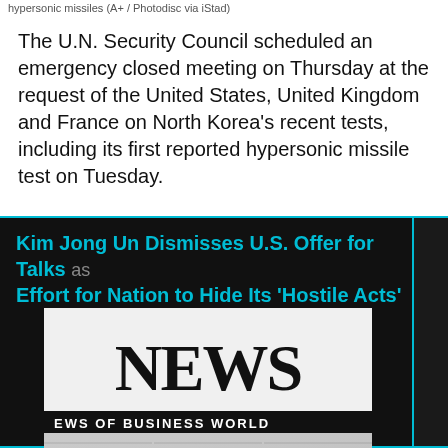hypersonic missiles (A+ / Photodisc via iStad)
The U.N. Security Council scheduled an emergency closed meeting on Thursday at the request of the United States, United Kingdom and France on North Korea's recent tests, including its first reported hypersonic missile test on Tuesday.
Kim Jong Un Dismisses U.S. Offer for Talks as Effort for Nation to Hide Its 'Hostile Acts'
[Figure (photo): Photograph of a newspaper with the headline 'NEWS' and subtitle 'NEWS OF BUSINESS WORLD', showing blurred newspaper text columns below.]